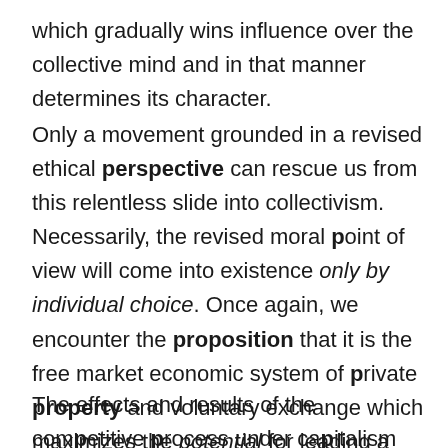which gradually wins influence over the collective mind and in that manner determines its character.
Only a movement grounded in a revised ethical perspective can rescue us from this relentless slide into collectivism. Necessarily, the revised moral point of view will come into existence only by individual choice. Once again, we encounter the proposition that it is the free market economic system of private property and voluntary exchange which maximizes the potential for leading a moral life.
The effects and results of the competitive process under capitalism are generally consistent with a